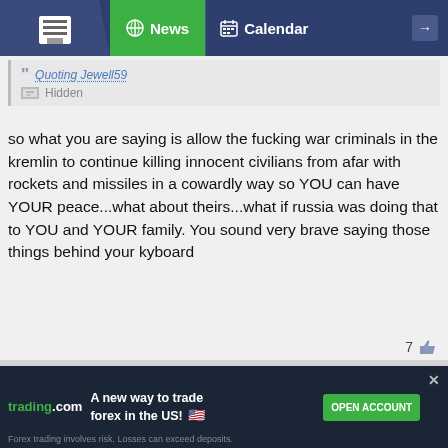[Figure (screenshot): Navigation bar with logo, News and Calendar tabs]
Quoting Jewell59
Hidden
so what you are saying is allow the fucking war criminals in the kremlin to continue killing innocent civilians from afar with rockets and missiles in a cowardly way so YOU can have YOUR peace...what about theirs...what if russia was doing that to YOU and YOUR family. You sound very brave saying those things behind your kyboard
7
Apr 1, 2022 9:18am  #7
NotAtrader
Quoting gio123
{quote} so what you are saying is allow the fucking war criminals in the kremlin to continue killing innocent civilians from afar with rockets and missiles in a cowardly way so YOU can have YOUR peace...what about theirs...what if russia was doing that to YOU and YOUR family. You sound
trading.com — A new way to trade forex in the US! OPEN ACCOUNT. Forex trading involves risk. Losses can exceed deposits.